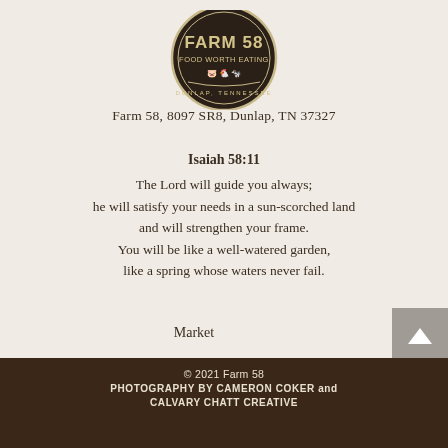[Figure (logo): Farm 58 circular logo with dark background, text 'FARM 58 FOOD WORTH EATING DUNLAP TENNESSEE' with animal silhouettes]
Farm 58, 8097 SR8, Dunlap, TN 37327
Isaiah 58:11
The Lord will guide you always;
he will satisfy your needs in a sun-scorched land
and will strengthen your frame.
You will be like a well-watered garden,
like a spring whose waters never fail.
Market
[Figure (other): Facebook and Instagram social media icons]
© 2021 Farm 58
PHOTOGRAPHY BY CAMERON COKER and
CALVARY CHATT CREATIVE